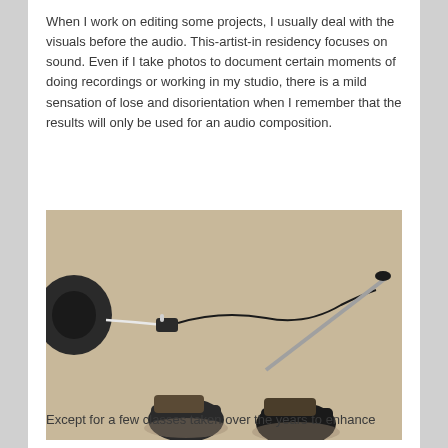When I work on editing some projects, I usually deal with the visuals before the audio. This-artist-in residency focuses on sound. Even if I take photos to document certain moments of doing recordings or working in my studio, there is a mild sensation of lose and disorientation when I remember that the results will only be used for an audio composition.
[Figure (photo): Top-down view of a person's feet in dark shoes/boots standing on a beige carpet. A microphone boom stand and audio equipment with white and black cables are visible on the floor.]
Except for a few classes taken over the years to enhance